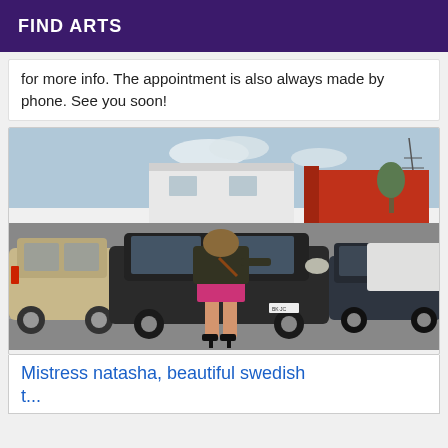FIND ARTS
for more info. The appointment is also always made by phone. See you soon!
[Figure (photo): Outdoor parking lot scene with several cars including a black Ford Focus hatchback, a beige SUV on the left, white vans, and red industrial buildings in the background. A woman in a short skirt and high heels is bending over the hood of the black car.]
Mistress natasha, beautiful swedish t...